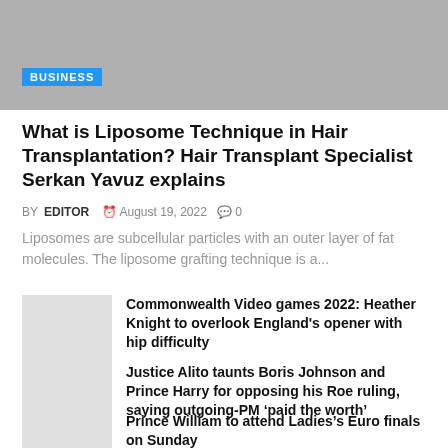[Figure (photo): Partial photo of a person in dark clothing, cropped at top of page]
BUSINESS
What is Liposome Technique in Hair Transplantation? Hair Transplant Specialist Serkan Yavuz explains
BY EDITOR  August 19, 2022  0
Liposomes are subcellular particles with an outer layer of fat molecules. The liposome grafting technique is a...
Commonwealth Video games 2022: Heather Knight to overlook England’s opener with hip difficulty
Justice Alito taunts Boris Johnson and Prince Harry for opposing his Roe ruling, saying outgoing-PM ‘paid the worth’
Prince William to attend Ladies’s Euro finals on Sunday